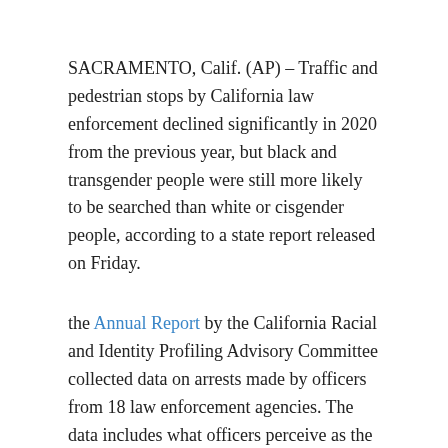SACRAMENTO, Calif. (AP) – Traffic and pedestrian stops by California law enforcement declined significantly in 2020 from the previous year, but black and transgender people were still more likely to be searched than white or cisgender people, according to a state report released on Friday.
the Annual Report by the California Racial and Identity Profiling Advisory Committee collected data on arrests made by officers from 18 law enforcement agencies. The data includes what officers perceive as the race, ethnicity, gender, and disability status of the people they control so the state can better identify and analyze biases in policing.
Collectively, these agencies arrested 2.9 million people in 2020. That's 26.5% fewer stops than in 2019, when three fewer agencies reported data. Officials blamed the decline